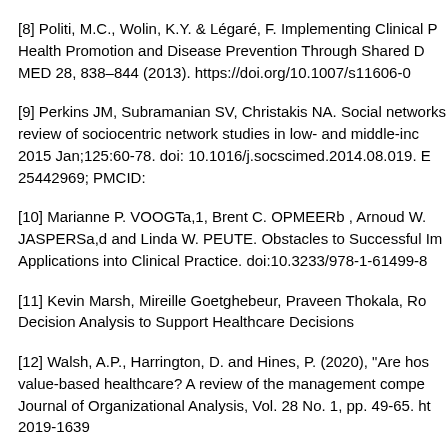[8] Politi, M.C., Wolin, K.Y. & Légaré, F. Implementing Clinical P... Health Promotion and Disease Prevention Through Shared D... MED 28, 838–844 (2013). https://doi.org/10.1007/s11606-0...
[9] Perkins JM, Subramanian SV, Christakis NA. Social networks... review of sociocentric network studies in low- and middle-inc... 2015 Jan;125:60-78. doi: 10.1016/j.socscimed.2014.08.019. E... 25442969; PMCID:
[10] Marianne P. VOOGTa,1, Brent C. OPMEERb , Arnoud W. ... JASPERSa,d and Linda W. PEUTE. Obstacles to Successful Imp... Applications into Clinical Practice. doi:10.3233/978-1-61499-8...
[11] Kevin Marsh, Mireille Goetghebeur, Praveen Thokala, Ro... Decision Analysis to Support Healthcare Decisions
[12] Walsh, A.P., Harrington, D. and Hines, P. (2020), "Are hos... value-based healthcare? A review of the management compe... Journal of Organizational Analysis, Vol. 28 No. 1, pp. 49-65. ht... 2019-1639